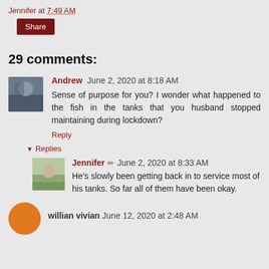Jennifer at 7:49 AM
Share
29 comments:
Andrew  June 2, 2020 at 8:18 AM
Sense of purpose for you? I wonder what happened to the fish in the tanks that you husband stopped maintaining during lockdown?
Reply
Replies
Jennifer  June 2, 2020 at 8:33 AM
He's slowly been getting back in to service most of his tanks. So far all of them have been okay.
willian vivian  June 12, 2020 at 2:48 AM